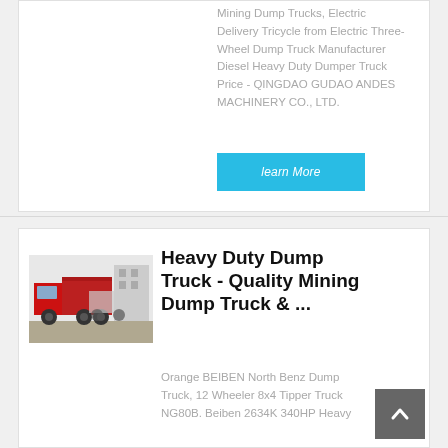Mining Dump Trucks, Electric Delivery Tricycle from Electric Three-Wheel Dump Truck Manufacturer Diesel Heavy Duty Dumper Truck Price - QINGDAO GUDAO ANDES MACHINERY CO., LTD.
learn More
[Figure (photo): Red heavy duty dump truck parked, multiple trucks visible in background]
Heavy Duty Dump Truck - Quality Mining Dump Truck & ...
Orange BEIBEN North Benz Dump Truck, 12 Wheeler 8x4 Tipper Truck NG80B. Beiben 2634K 340HP Heavy